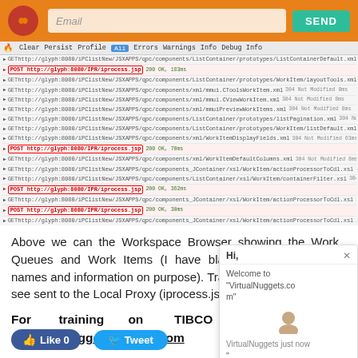[Figure (screenshot): Orange top navigation bar with logo, email input field, and SEND button]
[Figure (screenshot): FireBug network panel showing HTTP GET and POST requests to iprocess.jsp with highlighted POST rows]
Above we can the Workspace Browser showing the Work Queues and Work Items (I have blacked out the queue names and information on purpose). Tracking it in FireBug we see sent to the Local Proxy (iprocess.jsp).
For training on TIBCO IProcess at virtualnuggets@gmail.com
[Figure (screenshot): Chat widget overlay showing VirtualNuggets welcome message and type interface]
[Figure (screenshot): Like 0 and Tweet social sharing buttons]